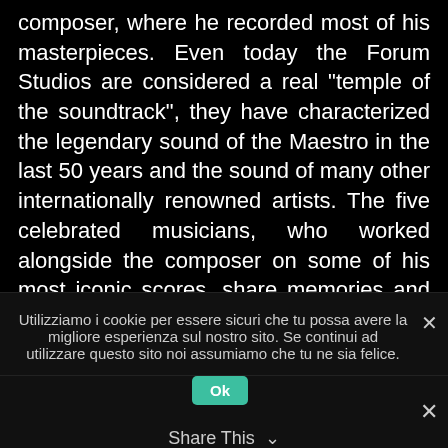composer, where he recorded most of his masterpieces. Even today the Forum Studios are considered a real “temple of the soundtrack”, they have characterized the legendary sound of the Maestro in the last 50 years and the sound of many other internationally renowned artists. The five celebrated musicians, who worked alongside the composer on some of his most iconic scores, share memories and stories about him and reminisce about his glittering career, spanning more than six decades. Morricone’s so-called ‘Dream Team’ – comprising Argentinean organist Giorgio Carnini, guitarist and composer Bruno Battisti D’Amario, saxophonist and arranger Gianni Oddi, pianist and
Utilizziamo i cookie per essere sicuri che tu possa avere la migliore esperienza sul nostro sito. Se continui ad utilizzare questo sito noi assumiamo che tu ne sia felice.
Share This